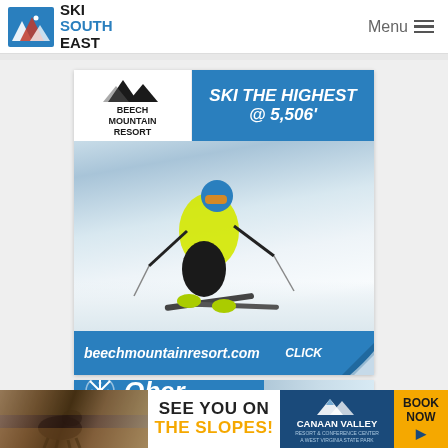[Figure (logo): Ski South East logo with mountain/skier icon and text]
Menu
[Figure (advertisement): Beech Mountain Resort advertisement: SKI THE HIGHEST @ 5,506' with skier photo, beechmountainresort.com, CLICK]
[Figure (advertisement): Ober ski resort advertisement banner]
[Figure (advertisement): Canaan Valley Resort banner: SEE YOU ON THE SLOPES! BOOK NOW]